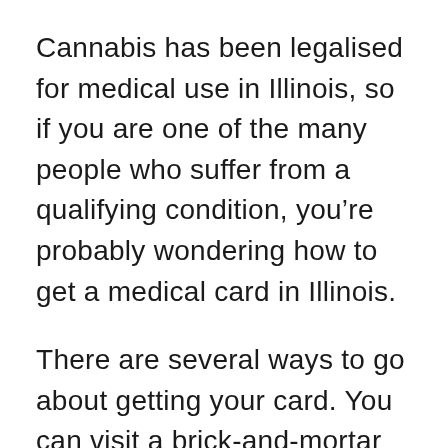Cannabis has been legalised for medical use in Illinois, so if you are one of the many people who suffer from a qualifying condition, you’re probably wondering how to get a medical card in Illinois.
There are several ways to go about getting your card. You can visit a brick-and-mortar dispensary or go through an online doctor platform such as ours by applying for your card without ever having to leave your home.